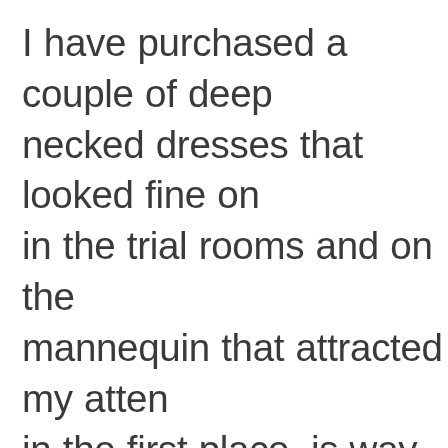I have purchased a couple of deep necked dresses that looked fine on in the trial rooms and on the mannequin that attracted my atten in the first place, is way too revealin me in natural surroundings as I'm larger busted than the people those dresses were intended for– hence it looks vulgar. Similar things happen t slim fit sweaters and certain blouse